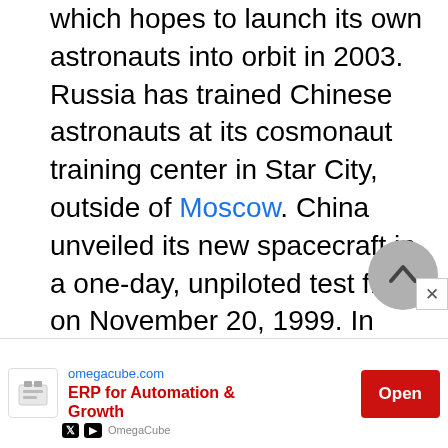which hopes to launch its own astronauts into orbit in 2003. Russia has trained Chinese astronauts at its cosmonaut training center in Star City, outside of Moscow. China unveiled its new spacecraft in a one-day, unpiloted test flight on November 20, 1999. In January 2001 the Shenzhou ("magic vessel") flew for a second test flight that lasted for a week. China has already launched its first navigation positioning satellite, the Beidou
[Figure (other): Back to top arrow button (circular grey button with upward chevron)]
[Figure (other): Advertisement banner: omegacube.com ERP for Automation & Growth with Open button]